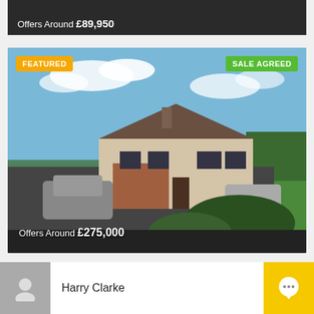[Figure (photo): Cropped top of a property listing card showing price 'Offers Around £89,950' on dark background]
Offers Around £89,950
[Figure (photo): Property listing photo of a detached bungalow with blue sky, cars in driveway, and green lawn. Badges: FEATURED (yellow, top-left), SALE AGREED (green, top-right). Price overlay: Offers Around £275,000]
FEATURED
SALE AGREED
Offers Around £275,000
[Figure (photo): Partially visible property listing card at bottom with FEATURED badge and COMMERCIAL FOR SALE badge]
FEATURED
COMMERCIAL FOR SALE
Harry Clarke